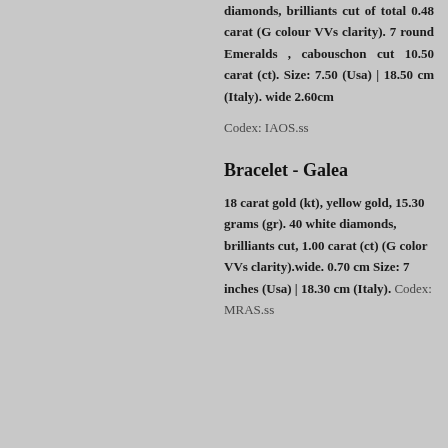diamonds, brilliants cut of total 0.48 carat (G colour VVs clarity). 7 round Emeralds , cabouschon cut 10.50 carat (ct). Size: 7.50 (Usa) | 18.50 cm (Italy). wide 2.60cm
Codex: IAOS.ss
Bracelet - Galea
18 carat gold (kt), yellow gold, 15.30 grams (gr). 40 white diamonds, brilliants cut, 1.00 carat (ct) (G color VVs clarity).wide. 0.70 cm Size: 7 inches (Usa) | 18.30 cm (Italy). Codex: MRAS.ss